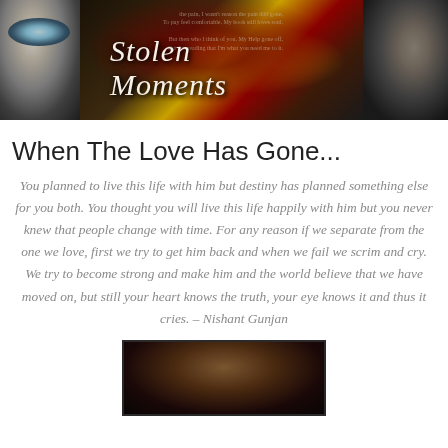[Figure (illustration): Stolen Moments website banner with a close-up of a woman's eye on the left, a red rose and handwritten text/book pages in the center, cursive white text reading 'Stolen Moments', and a couple embracing on the right, all on dark background]
When The Love Has Gone...
You planned to live this life with him but destiny has planned something else for you both. You thought you will live this life happily with him but you never knew that people change with time. For any reason if we separate from the one we love, first we try to get him back and when we fail we scrim and cry. We try to become strong and make him and the world believe that we have moved on, but still your heart knows the truth, your eye knows it and thus it cries. – Nishant Gunjan
[Figure (photo): Partial view of a woman's face or figure in dark tones, partially visible at bottom of page]